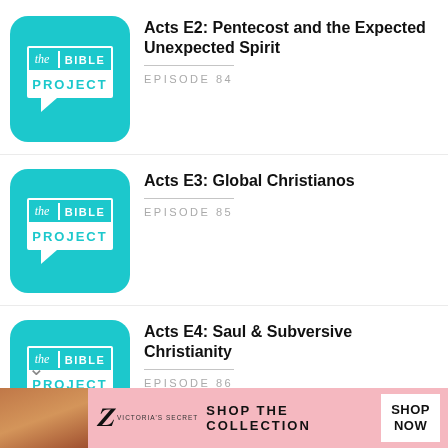[Figure (logo): The Bible Project podcast logo - teal square with rounded corners, white text reading 'the | BIBLE' on top and 'PROJECT' on bottom in teal, speech bubble shape]
Acts E2: Pentecost and the Expected Unexpected Spirit
EPISODE 84
[Figure (logo): The Bible Project podcast logo - teal square with rounded corners]
Acts E3: Global Christianos
EPISODE 85
[Figure (logo): The Bible Project podcast logo - teal square with rounded corners]
Acts E4: Saul & Subversive Christianity
EPISODE 86
[Figure (illustration): Victoria's Secret advertisement banner with woman's photo, VS logo, 'SHOP THE COLLECTION' text, and 'SHOP NOW' button]